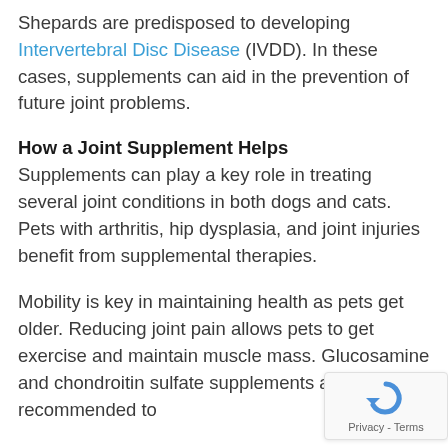Shepards are predisposed to developing Intervertebral Disc Disease (IVDD). In these cases, supplements can aid in the prevention of future joint problems.
How a Joint Supplement Helps
Supplements can play a key role in treating several joint conditions in both dogs and cats. Pets with arthritis, hip dysplasia, and joint injuries benefit from supplemental therapies.
Mobility is key in maintaining health as pets get older. Reducing joint pain allows pets to get exercise and maintain muscle mass. Glucosamine and chondroitin sulfate supplements are often recommended to